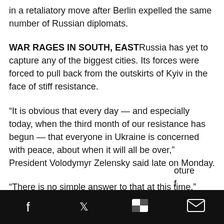in a retaliatory move after Berlin expelled the same number of Russian diplomats.
WAR RAGES IN SOUTH, EASTRussia has yet to capture any of the biggest cities. Its forces were forced to pull back from the outskirts of Kyiv in the face of stiff resistance.
“It is obvious that every day — and especially today, when the third month of our resistance has begun — that everyone in Ukraine is concerned with peace, about when it will all be over,” President Volodymyr Zelensky said late on Monday.
“There is no simple answer to that at this time.”
Having failed to take the capital Kyiv, Moscow last week
social share bar with Facebook, Twitter, Flipboard, Email icons